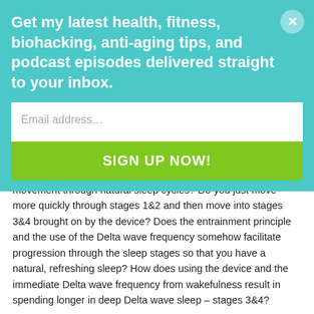Get my latest health, fitness, biohacking, anti-aging tips, and podcast episodes delivered straight to your inbox.
Email address...
SIGN UP NOW!
movement through natural sleep cycles? Do you just move more quickly through stages 1&2 and then move into stages 3&4 brought on by the device? Does the entrainment principle and the use of the Delta wave frequency somehow facilitate progression through the sleep stages so that you have a natural, refreshing sleep? How does using the device and the immediate Delta wave frequency from wakefulness result in spending longer in deep Delta wave sleep – stages 3&4?
Reply